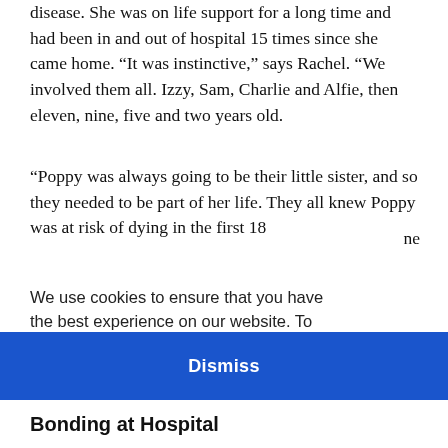disease. She was on life support for a long time and had been in and out of hospital 15 times since she came home. “It was instinctive,” says Rachel. “We involved them all. Izzy, Sam, Charlie and Alfie, then eleven, nine, five and two years old.
“Poppy was always going to be their little sister, and so they needed to be part of her life. They all knew Poppy was at risk of dying in the first 18
ne
We use cookies to ensure that you have the best experience on our website. To learn more about cookies, view our cookie policy.
the
Dismiss
Bonding at Hospital